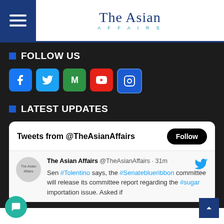The Asian AFFAIRS
FOLLOW US
[Figure (infographic): Social media icons: Facebook, Twitter, Medium, YouTube, Instagram]
LATEST UPDATES
Tweets from @TheAsianAffairs
The Asian Affairs @TheAsianAffairs · 31m  Sen #Tolentino says, the #Senateblueribbon committee will release its committee report regarding the #sugar importation issue. Asked if